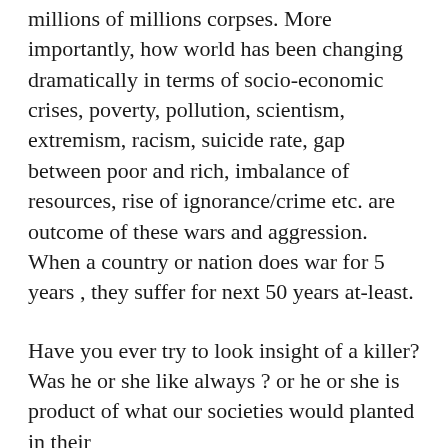millions of millions corpses. More importantly, how world has been changing dramatically in terms of socio-economic crises, poverty, pollution, scientism, extremism, racism, suicide rate, gap between poor and rich, imbalance of resources, rise of ignorance/crime etc. are outcome of these wars and aggression. When a country or nation does war for 5 years , they suffer for next 50 years at-least.
Have you ever try to look insight of a killer? Was he or she like always ? or he or she is product of what our societies would planted in their